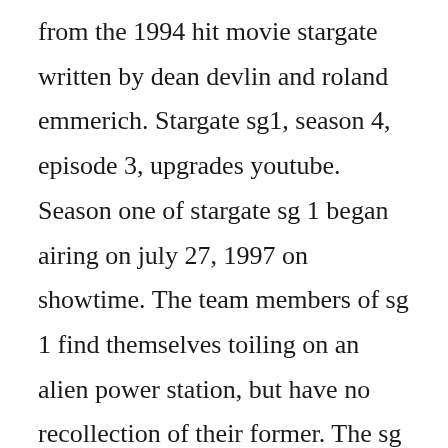from the 1994 hit movie stargate written by dean devlin and roland emmerich. Stargate sg1, season 4, episode 3, upgrades youtube. Season one of stargate sg 1 began airing on july 27, 1997 on showtime. The team members of sg 1 find themselves toiling on an alien power station, but have no recollection of their former. The sg 1 team has been deactivated by the new president, the goauld has been defeated, and all. The eighth season begins with the sg 1 team trying to revive colonel jack oneill after the events of the seventh season.